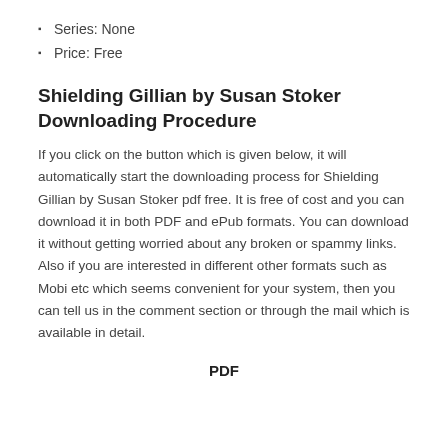Series: None
Price: Free
Shielding Gillian by Susan Stoker Downloading Procedure
If you click on the button which is given below, it will automatically start the downloading process for Shielding Gillian by Susan Stoker pdf free. It is free of cost and you can download it in both PDF and ePub formats. You can download it without getting worried about any broken or spammy links. Also if you are interested in different other formats such as Mobi etc which seems convenient for your system, then you can tell us in the comment section or through the mail which is available in detail.
PDF